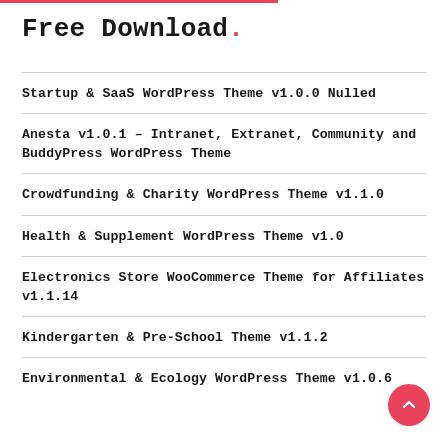Free Download.
Startup & SaaS WordPress Theme v1.0.0 Nulled
Anesta v1.0.1 – Intranet, Extranet, Community and BuddyPress WordPress Theme
Crowdfunding & Charity WordPress Theme v1.1.0
Health & Supplement WordPress Theme v1.0
Electronics Store WooCommerce Theme for Affiliates v1.1.14
Kindergarten & Pre-School Theme v1.1.2
Environmental & Ecology WordPress Theme v1.0.6